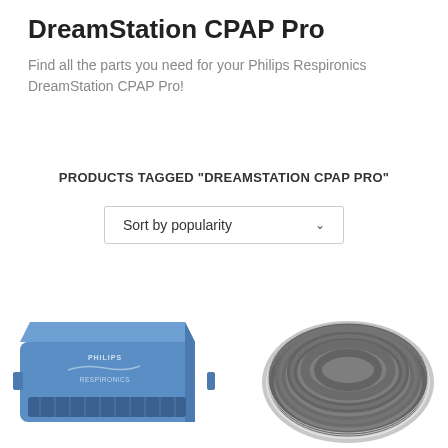DreamStation CPAP Pro
Find all the parts you need for your Philips Respironics DreamStation CPAP Pro!
PRODUCTS TAGGED “DREAMSTATION CPAP PRO”
Sort by popularity
[Figure (photo): Blue Philips Respironics CPAP filter/module device with PHILIPS RESPIRONICS branding on top]
[Figure (photo): White coiled CPAP tubing/hose arranged in a circular coil]